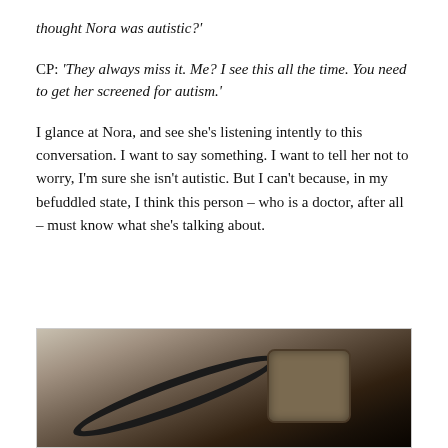thought Nora was autistic?'
CP: 'They always miss it. Me? I see this all the time. You need to get her screened for autism.'
I glance at Nora, and see she’s listening intently to this conversation. I want to say something. I want to tell her not to worry, I’m sure she isn’t autistic. But I can’t because, in my befuddled state, I think this person – who is a doctor, after all – must know what she’s talking about.
[Figure (photo): Close-up photo of medical equipment including a stethoscope and blood pressure cuff on a white surface, photographed in dark/moody lighting]